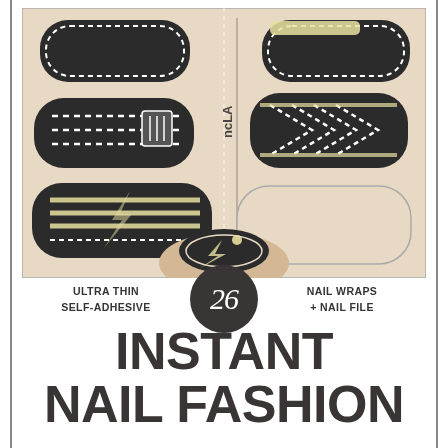[Figure (illustration): NCLA nail wrap product packaging image showing multiple black nail wraps with white dotted stripe patterns and yellow/cream accents on a beige background, with the ncLA logo visible]
ULTRA THIN
SELF-ADHESIVE
26
NAIL WRAPS
+ NAIL FILE
INSTANT NAIL FASHION